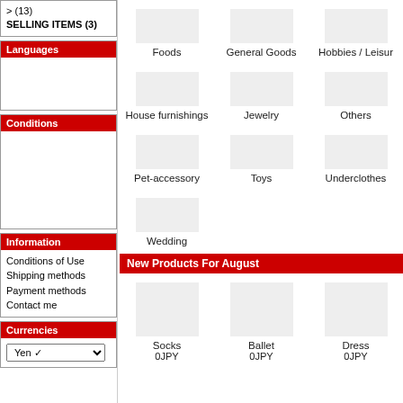> (13)
SELLING ITEMS (3)
Languages
Conditions
Information
Conditions of Use
Shipping methods
Payment methods
Contact me
Currencies
Foods
General Goods
Hobbies / Leisur
House furnishings
Jewelry
Others
Pet-accessory
Toys
Underclothes
Wedding
New Products For August
Socks
0JPY
Ballet
0JPY
Dress
0JPY